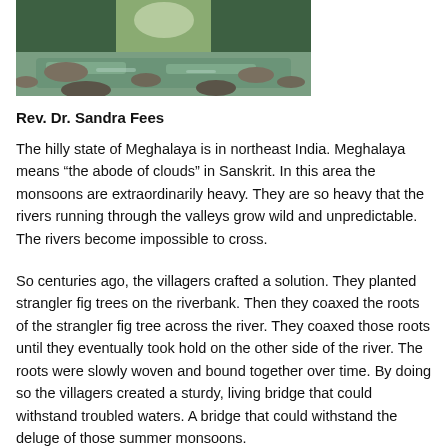[Figure (photo): A scenic photo of a river or stream flowing through a lush green forested area with rocks, likely in Meghalaya, India.]
Rev. Dr. Sandra Fees
The hilly state of Meghalaya is in northeast India. Meghalaya means “the abode of clouds” in Sanskrit. In this area the monsoons are extraordinarily heavy. They are so heavy that the rivers running through the valleys grow wild and unpredictable. The rivers become impossible to cross.
So centuries ago, the villagers crafted a solution. They planted strangler fig trees on the riverbank. Then they coaxed the roots of the strangler fig tree across the river. They coaxed those roots until they eventually took hold on the other side of the river. The roots were slowly woven and bound together over time. By doing so the villagers created a sturdy, living bridge that could withstand troubled waters. A bridge that could withstand the deluge of those summer monsoons.